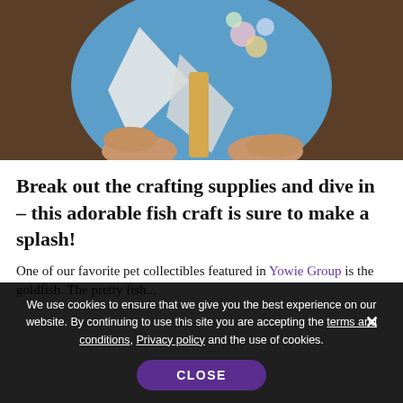[Figure (photo): Hands holding a blue paper fish craft with a popsicle stick handle, white fin, and decorative colorful scales on a wooden table background.]
Break out the crafting supplies and dive in – this adorable fish craft is sure to make a splash!
One of our favorite pet collectibles featured in Yowie Group is the goldfish. The pretty fish...
We use cookies to ensure that we give you the best experience on our website. By continuing to use this site you are accepting the terms and conditions, Privacy policy and the use of cookies. CLOSE